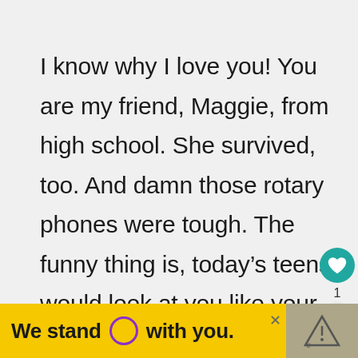I know why I love you! You are my friend, Maggie, from high school. She survived, too. And damn those rotary phones were tough. The funny thing is, today's teens would look at you like your dad. “You can’t take a phone under
[Figure (screenshot): UI buttons on right side: teal heart/like button, count '1', and share button with '+']
[Figure (screenshot): Yellow advertisement banner reading 'We stand O with you.' with a purple circle logo and close button]